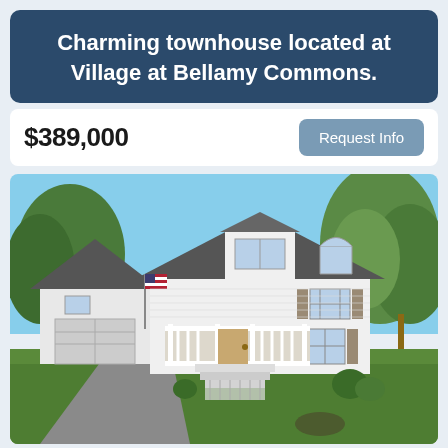Charming townhouse located at Village at Bellamy Commons.
$389,000
Request Info
[Figure (photo): Exterior photo of a white two-story colonial-style townhouse with gray roof, attached garage, front porch with white railings and steps, American flag, surrounded by green lawn and trees on a sunny day.]